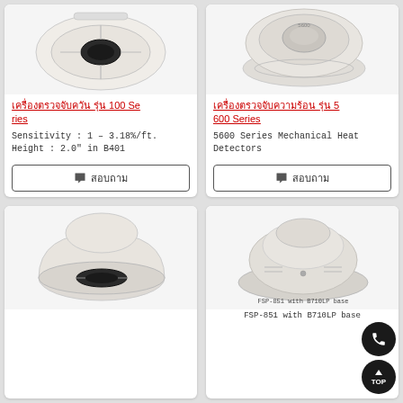[Figure (photo): Smoke detector device, top view, white/cream color - 100 Series]
เครื่องตรวจจับควัน รุ่น 100 Series
Sensitivity : 1 – 3.18%/ft. Height : 2.0" in B401
สอบถาม
[Figure (photo): Heat detector device, round white/grey dome shape - 5600 Series]
เครื่องตรวจจับความร้อน รุ่น 5600 Series
5600 Series Mechanical Heat Detectors
สอบถาม
[Figure (photo): Smoke detector device, angled view, white/cream rounded dome]
[Figure (photo): FSP-851 smoke detector with B710LP base, white, mounted on ceiling-style base]
FSP-851 with B710LP base